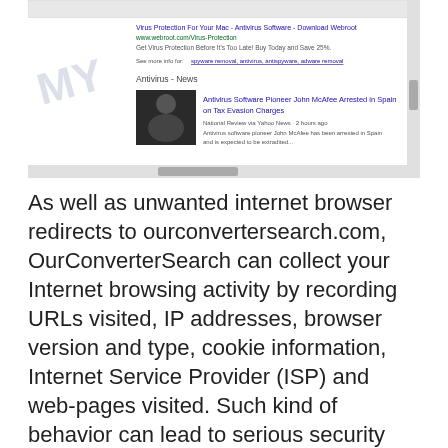[Figure (screenshot): Screenshot of a browser page showing antivirus-related ads and news, including 'Antivirus - News' section with headline 'Antivirus Software Pioneer John McAfee Arrested in Spain on Tax Evasion Charges'. A watermark 'MY' is visible on the left side.]
As well as unwanted internet browser redirects to ourconvertersearch.com, OurConverterSearch can collect your Internet browsing activity by recording URLs visited, IP addresses, browser version and type, cookie information, Internet Service Provider (ISP) and web-pages visited. Such kind of behavior can lead to serious security problems or sensitive information theft. This is another reason why the OurConverterSearch hijacker should be uninstalled without a wait.
To find out how to remove OurConverterSearch, we recommend to read the few simple steps added to this